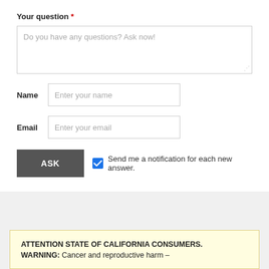Your question *
Do you have any questions? Ask now!
Name  Enter your name
Email  Enter your email
ASK  ☑ Send me a notification for each new answer.
ATTENTION STATE OF CALIFORNIA CONSUMERS. WARNING: Cancer and reproductive harm –